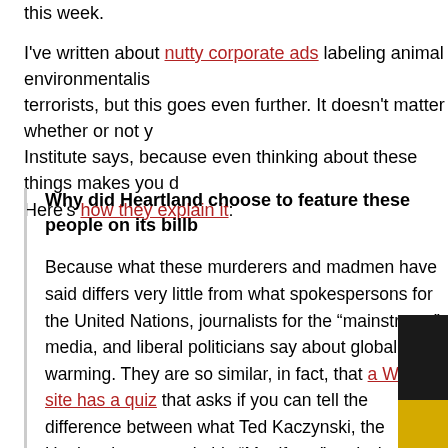this week.
I've written about nutty corporate ads labeling animal environmentalists terrorists, but this goes even further. It doesn't matter whether or not you Institute says, because even thinking about these things makes you dangerous. Here's how they explain it:
Why did Heartland choose to feature these people on its billb
Because what these murderers and madmen have said differs very little from what spokespersons for the United Nations, journalists for the “mainstream” media, and liberal politicians say about global warming. They are so similar, in fact, that a Web site has a quiz that asks if you can tell the difference between what Ted Kaczynski, the Unabomber, wrote in his “Manifesto” and what Al Gore wrote in his book, Earth in the Balance.The point is that believing in global warming is not “mainstream,” smart, or sophisticated. In fact, it is just the opposite of those things. Still believing in man-made global warming —